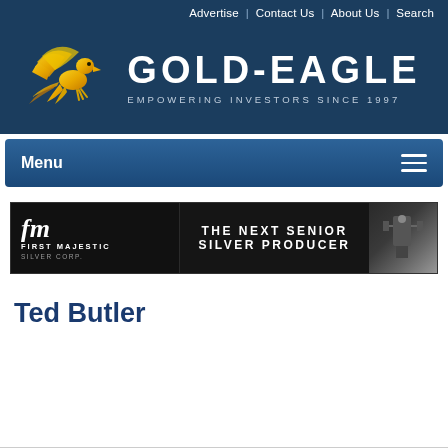Advertise | Contact Us | About Us | Search
[Figure (logo): Gold-Eagle logo: golden eagle flying left with text GOLD-EAGLE and tagline EMPOWERING INVESTORS SINCE 1997 on dark navy background]
Menu
[Figure (photo): First Majestic Silver Corp banner advertisement: THE NEXT SENIOR SILVER PRODUCER on dark background with industrial imagery]
Ted Butler